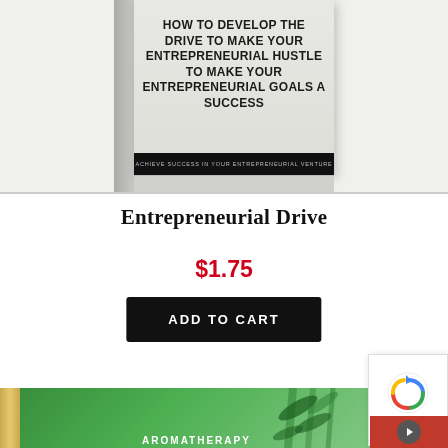[Figure (photo): Book cover for 'Entrepreneurial Drive' showing a grey/white book with text 'How to Develop the Drive to Make Your Entrepreneurial Hustle to Make Your Entrepreneurial Goals a Success' and a black footer band reading 'Achieve Success in Your Entrepreneurial Venture'. Book has a grey spine.]
Entrepreneurial Drive
$1.75
ADD TO CART
[Figure (photo): Partially visible book cover for 'Aromatherapy' with a green background featuring bamboo leaves and a gold/tan spine.]
[Figure (other): reCAPTCHA widget overlay in bottom-right corner with blue circular arrow logo and Privacy/Terms text. Red button with navigation icon below.]